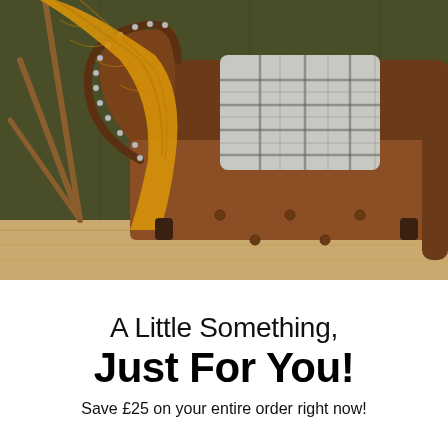[Figure (photo): A brown leather Chesterfield-style armchair with tufted seat, studded arm roll, a yellow/mustard knitted throw draped over the left arm, and a grey plaid cushion on the seat. The background shows olive-green panelled wall and a wooden tripod lamp. Warm lighting, wood floor visible.]
A Little Something, Just For You!
Save £25 on your entire order right now!